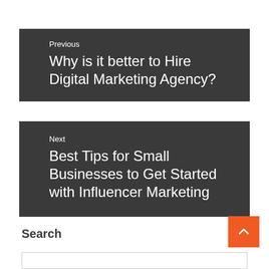Previous
Why is it better to Hire Digital Marketing Agency?
Next
Best Tips for Small Businesses to Get Started with Influencer Marketing
Search